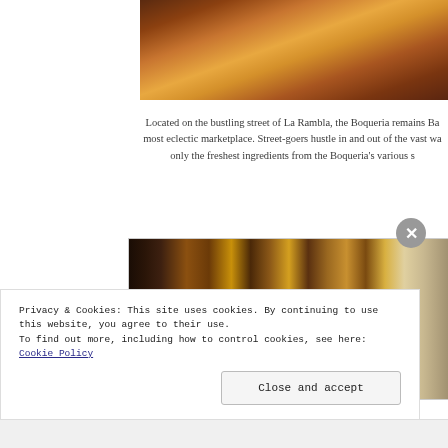[Figure (photo): Partial top image showing jars of colored substances, warm amber/orange tones, cropped at top of page]
Located on the bustling street of La Rambla, the Boqueria remains Ba most eclectic marketplace. Street-goers hustle in and out of the vast wa only the freshest ingredients from the Boqueria's various s
[Figure (photo): Photo of many bottles of liquor arranged on shelves with warm amber and gold tones, dark background]
Privacy & Cookies: This site uses cookies. By continuing to use this website, you agree to their use.
To find out more, including how to control cookies, see here: Cookie Policy
Close and accept